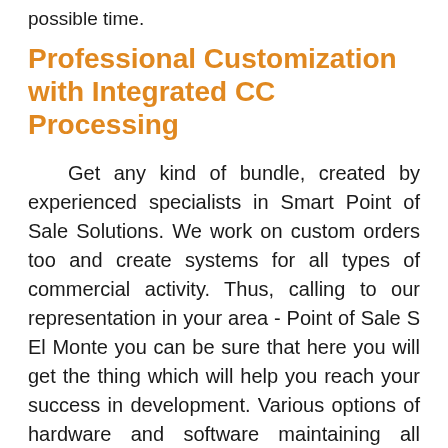possible time.
Professional Customization with Integrated CC Processing
Get any kind of bundle, created by experienced specialists in Smart Point of Sale Solutions. We work on custom orders too and create systems for all types of commercial activity. Thus, calling to our representation in your area - Point of Sale S El Monte you can be sure that here you will get the thing which will help you reach your success in development. Various options of hardware and software maintaining all features that will do the job fast and